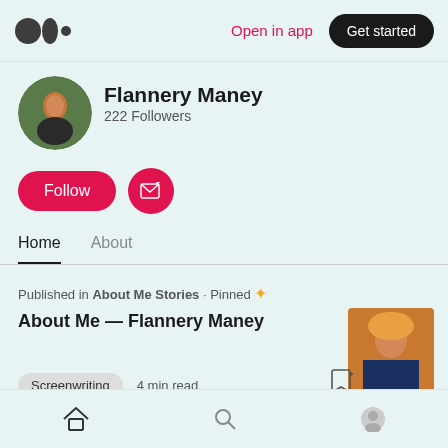Medium logo | Open in app | Get started
[Figure (photo): Circular profile photo of Flannery Maney outdoors with greenery background]
Flannery Maney
222 Followers
[Figure (illustration): Follow button (pink rounded) and Subscribe button (pink circle with envelope+)]
Home   About
Published in About Me Stories · Pinned ✦
About Me — Flannery Maney
Screenwriting   4 min read
[Figure (photo): Thumbnail photo of Flannery Maney wearing a yellow hat]
Home | Search | Profile